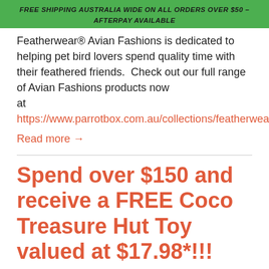FREE SHIPPING AUSTRALIA WIDE ON ALL ORDERS OVER $50 – AFTERPAY AVAILABLE
Featherwear® Avian Fashions is dedicated to helping pet bird lovers spend quality time with their feathered friends. Check out our full range of Avian Fashions products now at https://www.parrotbox.com.au/collections/featherwear. Read more →
Spend over $150 and receive a FREE Coco Treasure Hut Toy valued at $17.98*!!!
February 15, 2021  •  Natural  •  Promotion  •  Toys
[Figure (photo): Partial image of a silver/metallic Coco Treasure Hut Toy hanging hardware/clasp at the bottom of the page]